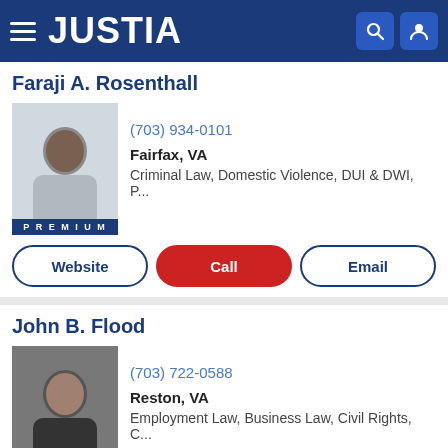JUSTIA
Faraji A. Rosenthall
(703) 934-0101
Fairfax, VA
Criminal Law, Domestic Violence, DUI & DWI, P...
Website | Call | Email
John B. Flood
(703) 722-0588
Reston, VA
Employment Law, Business Law, Civil Rights, C...
Website | Call | Email